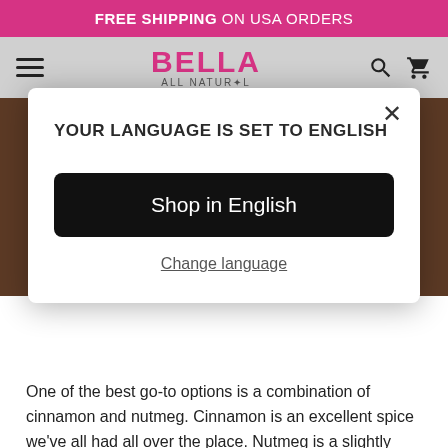FREE SHIPPING ON USA ORDERS
[Figure (screenshot): Bella All Natural website navigation bar with hamburger menu, pink BELLA ALL NATURAL logo, search and cart icons on grey background]
[Figure (photo): Dark brown background photo (spices/nutmeg) partially visible behind modal overlay]
YOUR LANGUAGE IS SET TO ENGLISH
Shop in English
Change language
One of the best go-to options is a combination of cinnamon and nutmeg. Cinnamon is an excellent spice we've all had all over the place. Nutmeg is a slightly